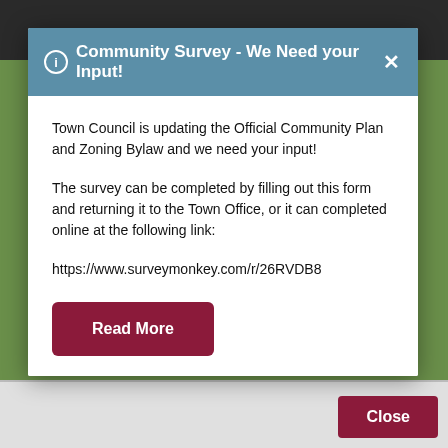Community Survey - We Need your Input!
Town Council is updating the Official Community Plan and Zoning Bylaw and we need your input!
The survey can be completed by filling out this form and returning it to the Town Office, or it can completed online at the following link:
https://www.surveymonkey.com/r/26RVDB8
Read More
Close